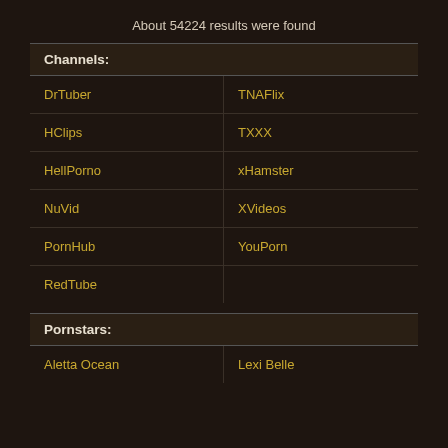About 54224 results were found
Channels:
DrTuber
TNAFlix
HClips
TXXX
HellPorno
xHamster
NuVid
XVideos
PornHub
YouPorn
RedTube
Pornstars:
Aletta Ocean
Lexi Belle